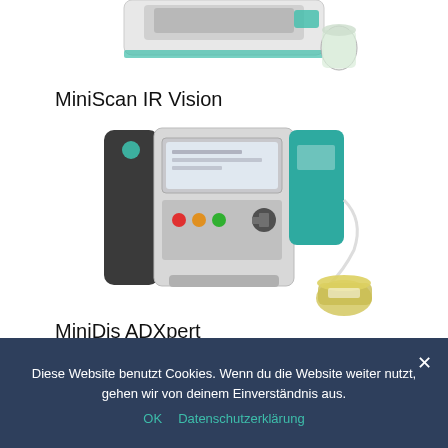[Figure (photo): Top portion of MiniScan IR Vision device, partially cropped at top of page]
MiniScan IR Vision
[Figure (photo): MiniScan ADXpert laboratory instrument — a desktop analyzer unit in grey/dark grey/teal colors with display screen, control buttons, and sample tubing with a small yellow sample vial]
MiniDis ADXpert
Diese Website benutzt Cookies. Wenn du die Website weiter nutzt, gehen wir von deinem Einverständnis aus.
OK   Datenschutzerklärung